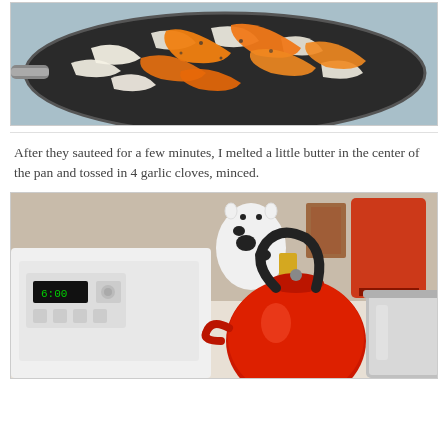[Figure (photo): A black skillet pan on a stovetop containing sautéed orange bell pepper strips and sliced white onions, seen from above.]
After they sauteed for a few minutes, I melted a little butter in the center of the pan and tossed in 4 garlic cloves, minced.
[Figure (photo): A kitchen counter scene showing a white electric stove with a digital clock display, a red tea kettle with a black handle, a large silver stockpot, a cow-shaped figurine, and a red lamp in the background.]